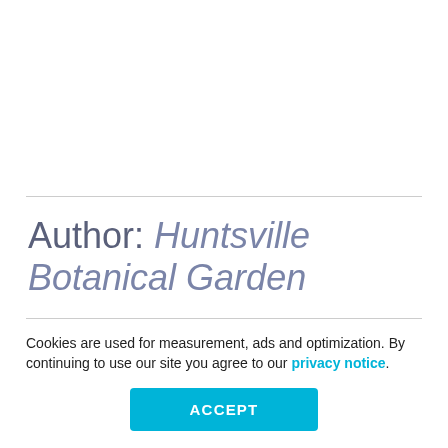Author: Huntsville Botanical Garden
Cookies are used for measurement, ads and optimization. By continuing to use our site you agree to our privacy notice.
ACCEPT